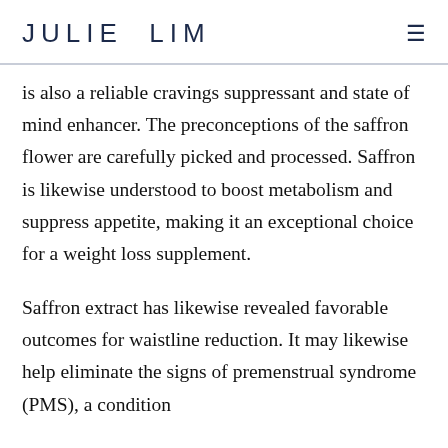JULIE LIM
is also a reliable cravings suppressant and state of mind enhancer. The preconceptions of the saffron flower are carefully picked and processed. Saffron is likewise understood to boost metabolism and suppress appetite, making it an exceptional choice for a weight loss supplement.
Saffron extract has likewise revealed favorable outcomes for waistline reduction. It may likewise help eliminate the signs of premenstrual syndrome (PMS), a condition